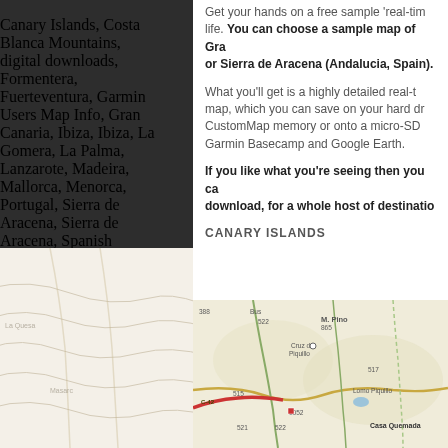Canary Islands, Costa Blanca Mountains, digital downloads, Formentera, Fuerteventura, Garmin Users Map Info, Gran Canaria, Ibiza, Ibiza, La Gomera, La Palma, Lanzarote, Madeira, Mallorca, Menorca, Portugal, Sierra de Aracena, Sierra de Aracena, Spanish Mainland, Tenerife, Walking Destinations
Leave a comment
[Figure (map): Topographic map showing terrain lines and roads]
[Figure (map): Topographic map showing terrain lines in light colors, bottom left area]
Get your hands on a free sample 'real-tim life. You can choose a sample map of Gra or Sierra de Aracena (Andalucia, Spain).
What you'll get is a highly detailed real-t map, which you can save on your hard dr CustomMap memory or onto a micro-SD Garmin Basecamp and Google Earth.
If you like what you're seeing then you ca download, for a whole host of destinatio
CANARY ISLANDS
[Figure (map): Detailed topographic map showing roads, towns including Cruz del Piquillo, Lomo Piquillo, Casa Quemada, elevation markers like M. Pino 865, route numbers 388, 515, 517, 521, 522, C-42]